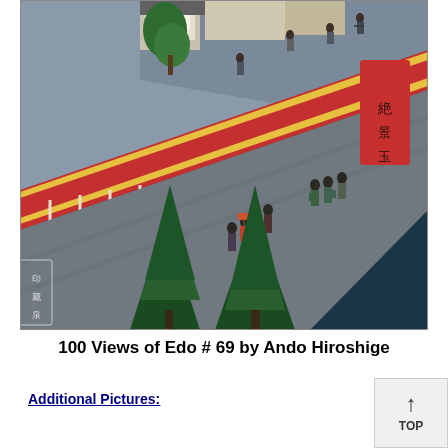[Figure (illustration): Japanese woodblock print by Ando Hiroshige, from '100 Views of Edo', #69. Depicts a diagonal red and yellow fence/wall running across the composition, with figures in traditional Japanese clothing walking along a grey road. Green trees visible in foreground bottom, and buildings with a tree in the upper left background. A red cartouche with Japanese calligraphy is in the upper right area. A publisher's seal appears lower left.]
100 Views of Edo # 69 by Ando Hiroshige
Additional Pictures: